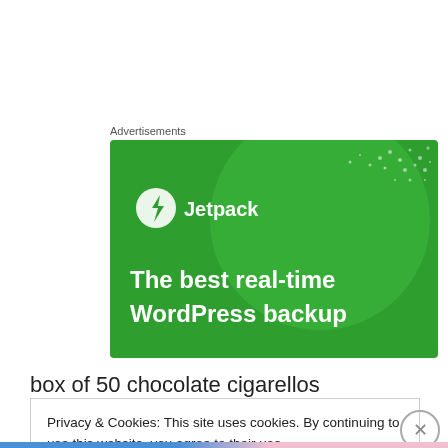Advertisements
[Figure (illustration): Jetpack advertisement banner with green background, Jetpack logo (lightning bolt in circle) and text 'The best real-time WordPress backup']
box of 50 chocolate cigarellos
Privacy & Cookies: This site uses cookies. By continuing to use this website, you agree to their use.
To find out more, including how to control cookies, see here: Cookie Policy
Close and accept